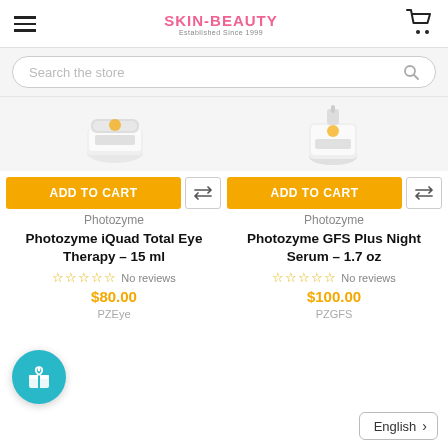SKIN-BEAUTY Established Since 1999
Search the store
[Figure (photo): Product image of Photozyme iQuad Total Eye Therapy 15ml in white/silver jar]
[Figure (photo): Product image of Photozyme GFS Plus Night Serum 1.7oz in white/silver bottle]
ADD TO CART
ADD TO CART
Photozyme
Photozyme
Photozyme iQuad Total Eye Therapy – 15 ml
Photozyme GFS Plus Night Serum – 1.7 oz
No reviews
$80.00
No reviews
$100.00
PZEye
PZGFS
English